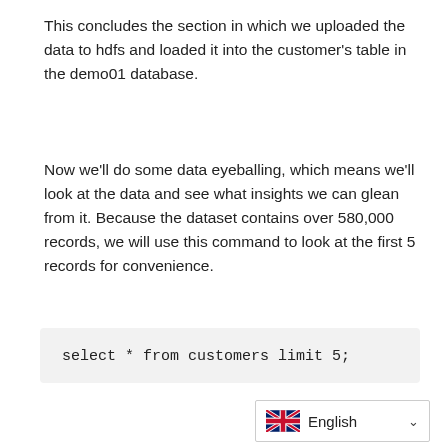This concludes the section in which we uploaded the data to hdfs and loaded it into the customer's table in the demo01 database.
Now we'll do some data eyeballing, which means we'll look at the data and see what insights we can glean from it. Because the dataset contains over 580,000 records, we will use this command to look at the first 5 records for convenience.
[Figure (other): Language selector widget showing UK flag and 'English' label with dropdown chevron]